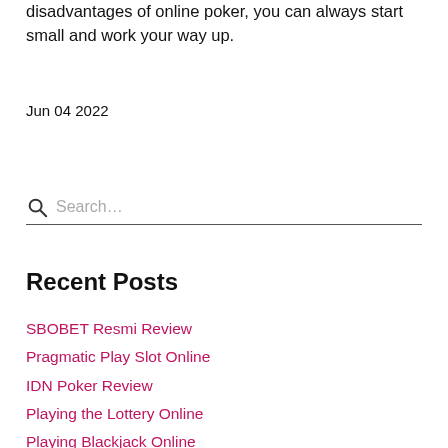disadvantages of online poker, you can always start small and work your way up.
Jun 04 2022
Search…
Recent Posts
SBOBET Resmi Review
Pragmatic Play Slot Online
IDN Poker Review
Playing the Lottery Online
Playing Blackjack Online